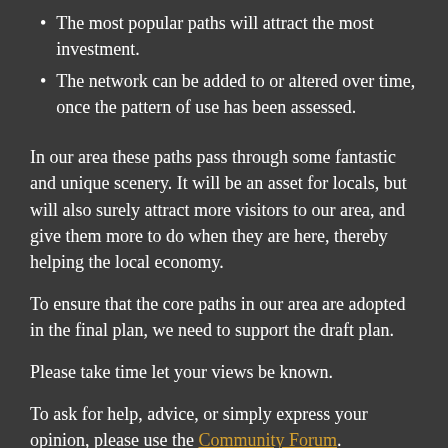The most popular paths will attract the most investment.
The network can be added to or altered over time, once the pattern of use has been assessed.
In our area these paths pass through some fantastic and unique scenery. It will be an asset for locals, but will also surely attract more visitors to our area, and give them more to do when they are here, thereby helping the local economy.
To ensure that the core paths in our area are adopted in the final plan, we need to support the draft plan.
Please take time let your views be known.
To ask for help, advice, or simply express your opinion, please use the Community Forum.